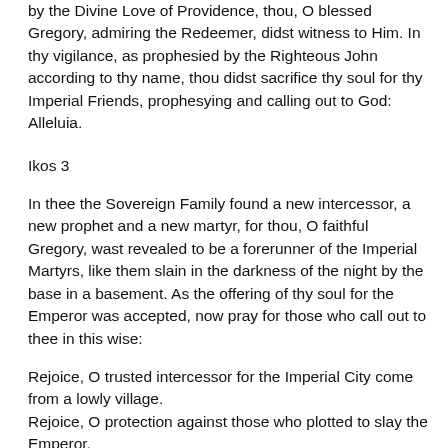by the Divine Love of Providence, thou, O blessed Gregory, admiring the Redeemer, didst witness to Him. In thy vigilance, as prophesied by the Righteous John according to thy name, thou didst sacrifice thy soul for thy Imperial Friends, prophesying and calling out to God: Alleluia.
Ikos 3
In thee the Sovereign Family found a new intercessor, a new prophet and a new martyr, for thou, O faithful Gregory, wast revealed to be a forerunner of the Imperial Martyrs, like them slain in the darkness of the night by the base in a basement. As the offering of thy soul for the Emperor was accepted, now pray for those who call out to thee in this wise:
Rejoice, O trusted intercessor for the Imperial City come from a lowly village.
Rejoice, O protection against those who plotted to slay the Emperor.